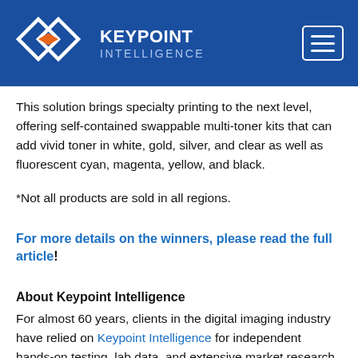Keypoint Intelligence
This solution brings specialty printing to the next level, offering self-contained swappable multi-toner kits that can add vivid toner in white, gold, silver, and clear as well as fluorescent cyan, magenta, yellow, and black.
*Not all products are sold in all regions.
For more details on the winners, please read the full article!
About Keypoint Intelligence
For almost 60 years, clients in the digital imaging industry have relied on Keypoint Intelligence for independent hands-on testing, lab data, and extensive market research to drive their product and sales